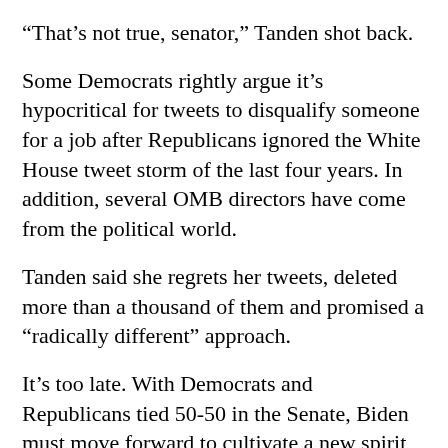“That’s not true, senator,” Tanden shot back.
Some Democrats rightly argue it’s hypocritical for tweets to disqualify someone for a job after Republicans ignored the White House tweet storm of the last four years. In addition, several OMB directors have come from the political world.
Tanden said she regrets her tweets, deleted more than a thousand of them and promised a “radically different” approach.
It’s too late. With Democrats and Republicans tied 50-50 in the Senate, Biden must move forward to cultivate a new spirit of cooperation and bipartisanship. He has less than two years until the mid-term elections to get things done. Republicans already are working to regain the Senate and add to their numbers in the House.
No president should saddle himself with any appointees who have alienated half the Senate and much of the House. Democrats hold a razor-thin majority of just 10